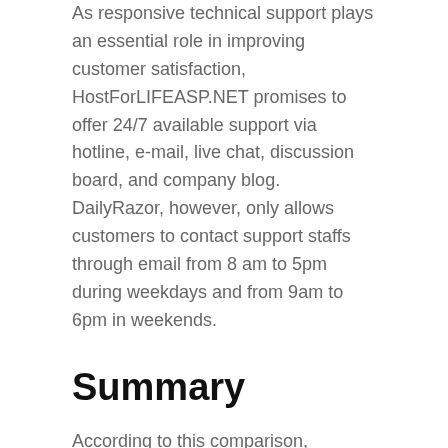As responsive technical support plays an essential role in improving customer satisfaction, HostForLIFEASP.NET promises to offer 24/7 available support via hotline, e-mail, live chat, discussion board, and company blog. DailyRazor, however, only allows customers to contact support staffs through email from 8 am to 5pm during weekdays and from 9am to 6pm in weekends.
Summary
According to this comparison, HostForLIFEASP.NET is undoubtedly the better option as it offers cheap price, rich features, excellent hosting performance and responsive support service. However, for customers looking for super-blazing hosting speed, DailyRazor is also worth trying.